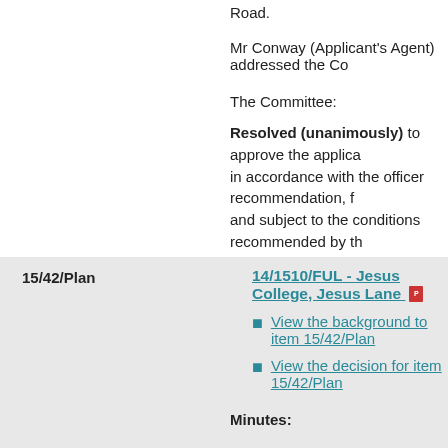Road.
Mr Conway (Applicant's Agent) addressed the Co
The Committee:
Resolved (unanimously) to approve the applica in accordance with the officer recommendation, f and subject to the conditions recommended by th
15/42/Plan  14/1510/FUL - Jesus College, Jesus Lane
View the background to item 15/42/Plan
View the decision for item 15/42/Plan
Minutes:
The Committee received an application for full pl
The proposal sought approval for the internalrefu RankBuilding;additionof a new entrancebuilding